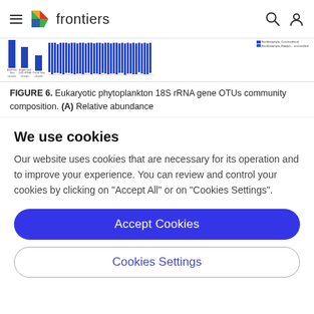frontiers
[Figure (other): Partial bar chart figure showing eukaryotic phytoplankton 18S rRNA gene OTUs community composition with blue bars and legend]
FIGURE 6. Eukaryotic phytoplankton 18S rRNA gene OTUs community composition. (A) Relative abundance
We use cookies
Our website uses cookies that are necessary for its operation and to improve your experience. You can review and control your cookies by clicking on "Accept All" or on "Cookies Settings".
Accept Cookies
Cookies Settings